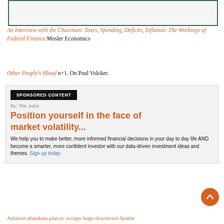[Figure (other): Faded image thumbnail with green border at top of page]
An Interview with the Chairman: Taxes, Spending, Deficits, Inflation: The Workings of Federal Finance Mosler Economics
Other People's Blood n+1. On Paul Volcker.
SPONSORED CONTENT
By: The Juice
Position yourself in the face of market volatility...
We help you to make better, more informed financial decisions in your day to day life AND become a smarter, more confident investor with our data-driven investment ideas and themes. Sign up today.
Amazon abandons plan to occupy huge downtown Seattle